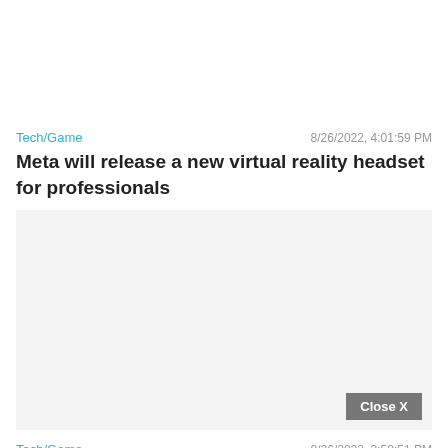Tech/Game   8/26/2022, 4:01:59 PM
Meta will release a new virtual reality headset for professionals
[Figure (other): Gray placeholder image area with a Close X button in the bottom right corner]
Tech/Game   8/26/2022, 3:50:51 PM
With WASP 39b, the James Webb